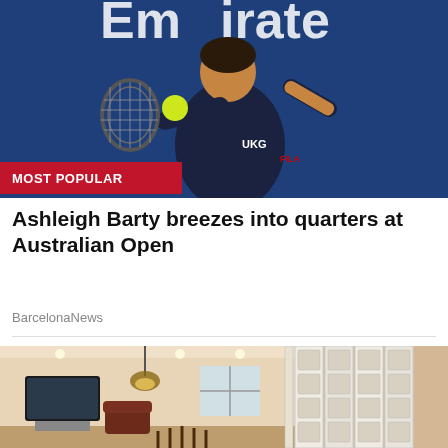[Figure (photo): Tennis player Ashleigh Barty hitting a forehand shot, wearing a dark navy UKG/FILA outfit, with a blue Emirates-branded background. A red 'MOST POPULAR' badge overlays the bottom-left corner of the photo.]
Ashleigh Barty breezes into quarters at Australian Open
BarcelonaNews
[Figure (photo): Interior home photo showing a living room with a fireplace, TV, leather chair, chandelier-style pendant light, and a set of white bi-fold or accordion interior doors/dividers in the center.]